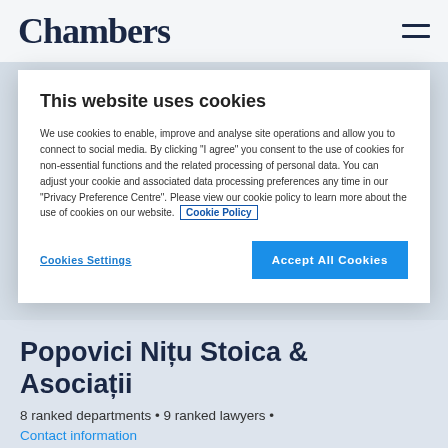Chambers
This website uses cookies
We use cookies to enable, improve and analyse site operations and allow you to connect to social media. By clicking "I agree" you consent to the use of cookies for non-essential functions and the related processing of personal data. You can adjust your cookie and associated data processing preferences any time in our "Privacy Preference Centre". Please view our cookie policy to learn more about the use of cookies on our website. Cookie Policy
Cookies Settings
Accept All Cookies
Popovici Nițu Stoica & Asociații
8 ranked departments • 9 ranked lawyers • Contact information